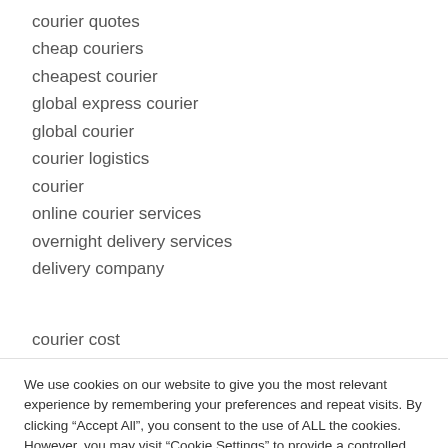courier quotes
cheap couriers
cheapest courier
global express courier
global courier
courier logistics
courier
online courier services
overnight delivery services
delivery company
courier cost
We use cookies on our website to give you the most relevant experience by remembering your preferences and repeat visits. By clicking “Accept All”, you consent to the use of ALL the cookies. However, you may visit “Cookie Settings” to provide a controlled consent.